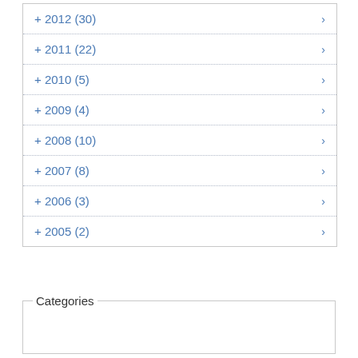+ 2012 (30)
+ 2011 (22)
+ 2010 (5)
+ 2009 (4)
+ 2008 (10)
+ 2007 (8)
+ 2006 (3)
+ 2005 (2)
Categories